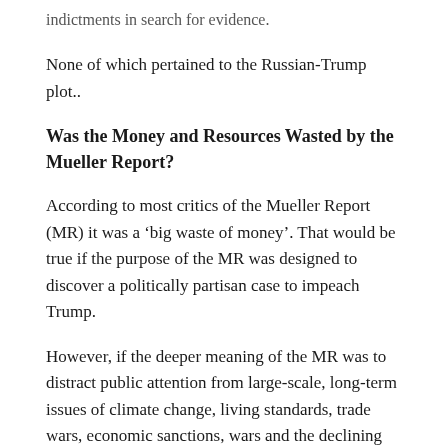indictments in search for evidence.
None of which pertained to the Russian-Trump plot..
Was the Money and Resources Wasted by the Mueller Report?
According to most critics of the Mueller Report (MR) it was a ‘big waste of money’. That would be true if the purpose of the MR was designed to discover a politically partisan case to impeach Trump.
However, if the deeper meaning of the MR was to distract public attention from large-scale, long-term issues of climate change, living standards, trade wars, economic sanctions, wars and the declining economy, then the money allocated to the MR was well taken.
Twenty-five million dollars spent to distract citizens from a war budget of nearly a trillion dollars was a